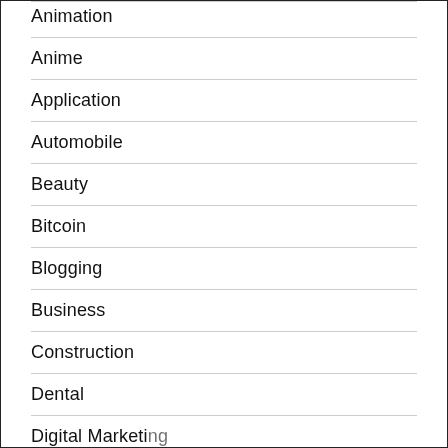Animation
Anime
Application
Automobile
Beauty
Bitcoin
Blogging
Business
Construction
Dental
Digital Marketing